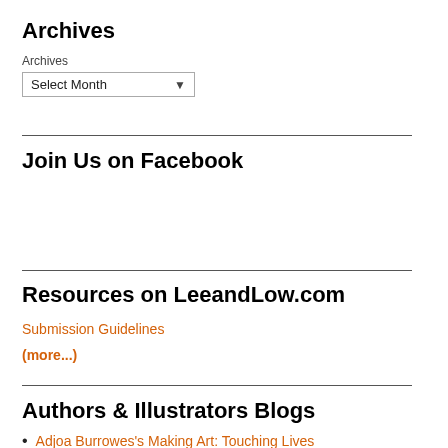Archives
Archives
Select Month
Join Us on Facebook
Resources on LeeandLow.com
Submission Guidelines
(more...)
Authors & Illustrators Blogs
Adjoa Burrowes's Making Art: Touching Lives
Alexis O'Neill's School Visit Experts
Ann Malaspina Writer